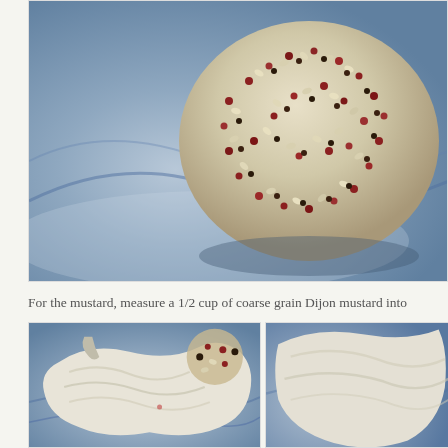[Figure (photo): Close-up photo of a cheese ball coated in tri-color quinoa (white, red, black) on a blue-streaked marble or ceramic plate, viewed from above]
For the mustard, measure a 1/2 cup of coarse grain Dijon mustard into
[Figure (photo): Photo of cream cheese or similar white creamy spread/mixture being scooped or worked, with the quinoa-coated cheese ball visible in the background, on a blue ceramic plate]
[Figure (photo): Partial photo of a similar food preparation scene, partially cropped at the right edge of the page]